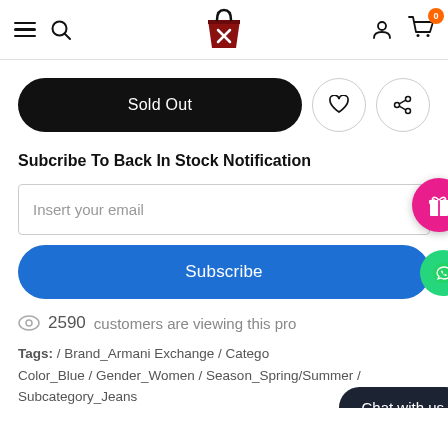Navigation bar with hamburger menu, search, logo, account, and cart icons
Sold Out
Subcribe To Back In Stock Notification
Insert your email
Subscribe
2590 customers are viewing this product
Tags: / Brand_Armani Exchange / Category... Color_Blue / Gender_Women / Season_Spring/Summer / Subcategory_Jeans